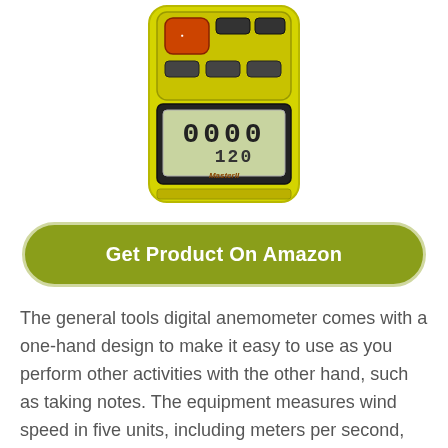[Figure (photo): Yellow handheld digital anemometer device with keypad buttons on top and LCD display showing 0000 and 120 on the bottom, branded 'MasterII']
Get Product On Amazon
The general tools digital anemometer comes with a one-hand design to make it easy to use as you perform other activities with the other hand, such as taking notes. The equipment measures wind speed in five units, including meters per second, kilometers per hour, feet per minute, and cubic feet per minute. The